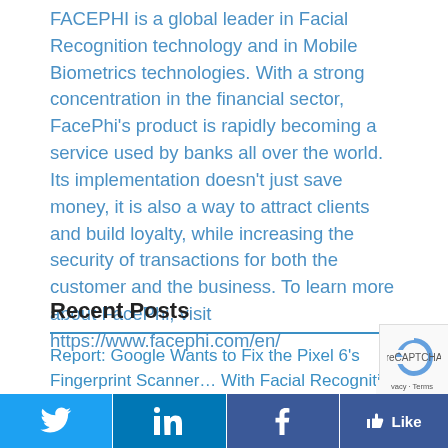FACEPHI is a global leader in Facial Recognition technology and in Mobile Biometrics technologies. With a strong concentration in the financial sector, FacePhi's product is rapidly becoming a service used by banks all over the world. Its implementation doesn't just save money, it is also a way to attract clients and build loyalty, while increasing the security of transactions for both the customer and the business. To learn more about FacePhi, visit https://www.facephi.com/en/
Recent Posts
Report: Google Wants to Fix the Pixel 6's Fingerprint Scanner… With Facial Recognition